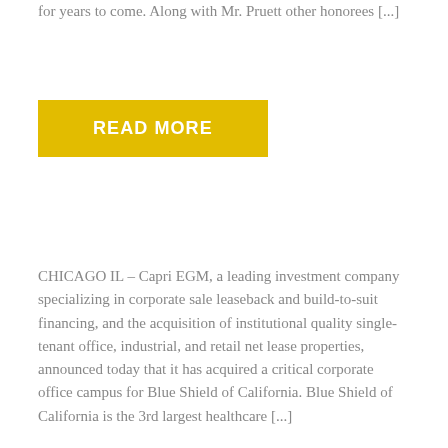for years to come. Along with Mr. Pruett other honorees [...]
READ MORE
CHICAGO IL – Capri EGM, a leading investment company specializing in corporate sale leaseback and build-to-suit financing, and the acquisition of institutional quality single-tenant office, industrial, and retail net lease properties, announced today that it has acquired a critical corporate office campus for Blue Shield of California. Blue Shield of California is the 3rd largest healthcare [...]